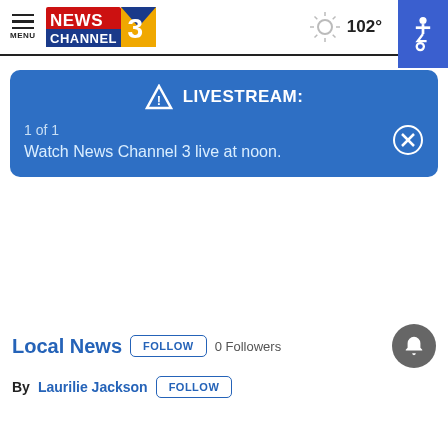MENU | NEWS CHANNEL 3 | 102°
[Figure (screenshot): Blue livestream notification banner with warning triangle icon, 'LIVESTREAM:' title, '1 of 1', 'Watch News Channel 3 live at noon.' and a close (X) button]
Local News  FOLLOW  0 Followers
By Laurilie Jackson  FOLLOW